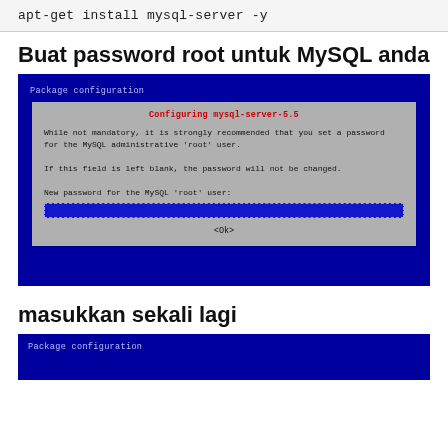apt-get install mysql-server -y
Buat password root untuk MySQL anda
[Figure (screenshot): Terminal screenshot showing MySQL package configuration dialog with title 'Configuring mysql-server-5.5', text about setting a password for the MySQL administrative root user, and a password input field with an Ok button. Blue background with gray dialog box. Watermark 'jaranguda.com' visible.]
masukkan sekali lagi
[Figure (screenshot): Bottom portion of another terminal screenshot showing 'Package configuration' header on blue background.]